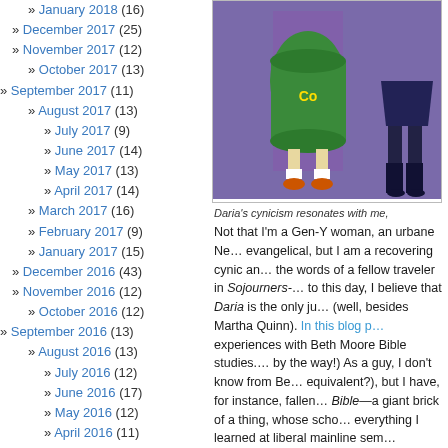» January 2018 (16)
» December 2017 (25)
» November 2017 (12)
» October 2017 (13)
» September 2017 (11)
» August 2017 (13)
» July 2017 (9)
» June 2017 (14)
» May 2017 (13)
» April 2017 (14)
» March 2017 (16)
» February 2017 (9)
» January 2017 (15)
» December 2016 (43)
» November 2016 (12)
» October 2016 (12)
» September 2016 (13)
» August 2016 (13)
» July 2016 (12)
» June 2016 (17)
» May 2016 (12)
» April 2016 (11)
» March 2016 (20)
» February 2016 (19)
» January 2016 (17)
» December 2015 (48)
» November 2015 (26)
» October 2015 (22)
» September 2015 (19)
» August 2015 (17)
» July 2015 (19)
» June 2015 (18)
» May 2015 (15)
[Figure (illustration): Cartoon illustration of Daria character in costume with boots]
Daria's cynicism resonates with me,
Not that I'm a Gen-Y woman, an urbane Ne... evangelical, but I am a recovering cynic an... the words of a fellow traveler in Sojourners-... to this day, I believe that Daria is the only ju... (well, besides Martha Quinn). In this blog p... experiences with Beth Moore Bible studies.... by the way!) As a guy, I don't know from Be... equivalent?), but I have, for instance, fallen... Bible—a giant brick of a thing, whose scho... everything I learned at liberal mainline sem...
Regardless, I love this: "Being snarky and c... great material for writing and holding court... with God." Exactly! Like Vedral, I have gro... Jesus. I want to be like them—even more t... Or at least I want to want that, which is pro...
As a third generation New Yorker...